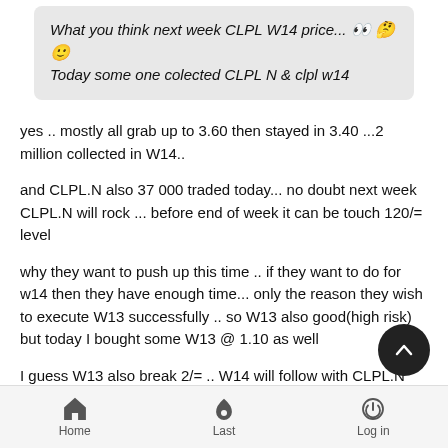What you think next week CLPL W14 price... 👀 🤔 🙂
Today some one colected CLPL N & clpl w14
yes .. mostly all grab up to 3.60 then stayed in 3.40 ...2 million collected in W14..
and CLPL.N also 37 000 traded today... no doubt next week CLPL.N will rock ... before end of week it can be touch 120/= level
why they want to push up this time .. if they want to do for w14 then they have enough time... only the reason they wish to execute W13 successfully .. so W13 also good(high risk) but today I bought some W13 @ 1.10 as well
I guess W13 also break 2/= .. W14 will follow with CLPL.N may
Home   Last   Log in